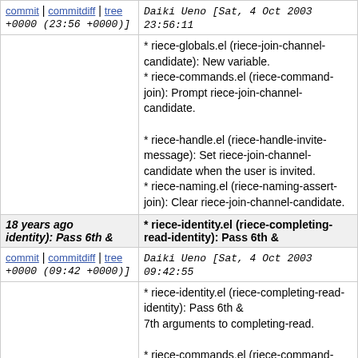commit | commitdiff | tree   Daiki Ueno [Sat, 4 Oct 2003 23:56:11 +0000 (23:56 +0000)]
* riece-globals.el (riece-join-channel-candidate): New variable.
* riece-commands.el (riece-command-join): Prompt riece-join-channel-candidate.

* riece-handle.el (riece-handle-invite-message): Set riece-join-channel-candidate when the user is invited.
* riece-naming.el (riece-naming-assert-join): Clear riece-join-channel-candidate.
18 years ago   * riece-identity.el (riece-completing-read-identity): Pass 6th & identity): Pass 6th &
commit | commitdiff | tree   Daiki Ueno [Sat, 4 Oct 2003 09:42:55 +0000 (09:42 +0000)]
* riece-identity.el (riece-completing-read-identity): Pass 6th & 7th arguments to completing-read.

* riece-commands.el (riece-command-part): Use 6th argument DEFAULT